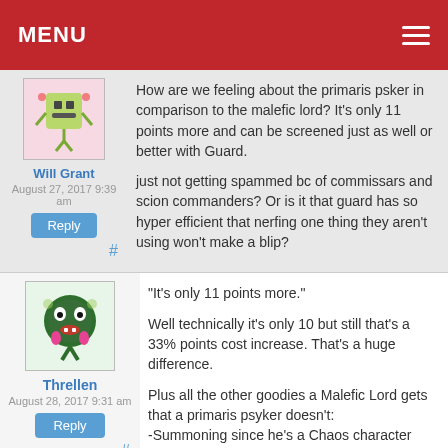MENU
How are we feeling about the primaris psker in comparison to the malefic lord? It's only 11 points more and can be screened just as well or better with Guard.
just not getting spammed bc of commissars and scion commanders? Or is it that guard has so hyper efficient that nerfing one thing they aren't using won't make a blip?
"It's only 11 points more."
Well technically it's only 10 but still that's a 33% points cost increase. That's a huge difference.
Plus all the other goodies a Malefic Lord gets that a primaris psyker doesn't:
-Summoning since he's a Chaos character
-4+ invul
-T4
-Can totally hulk out if he perils (not that it will ever really happen)
The last 3 extras aren't super, super